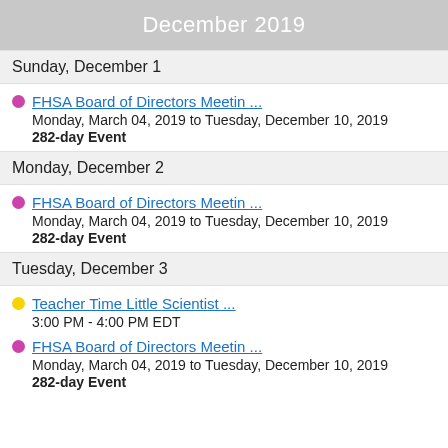December 2019
Sunday, December 1
FHSA Board of Directors Meetin ...
Monday, March 04, 2019 to Tuesday, December 10, 2019
282-day Event
Monday, December 2
FHSA Board of Directors Meetin ...
Monday, March 04, 2019 to Tuesday, December 10, 2019
282-day Event
Tuesday, December 3
Teacher Time Little Scientist ...
3:00 PM - 4:00 PM EDT
FHSA Board of Directors Meetin ...
Monday, March 04, 2019 to Tuesday, December 10, 2019
282-day Event